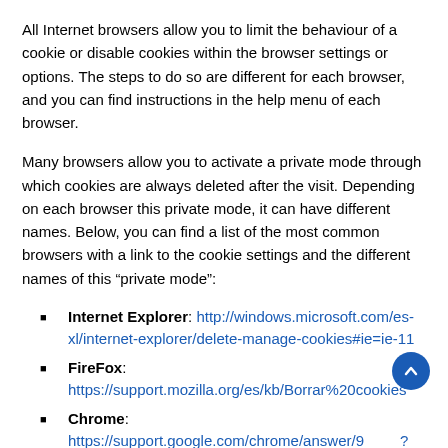All Internet browsers allow you to limit the behaviour of a cookie or disable cookies within the browser settings or options. The steps to do so are different for each browser, and you can find instructions in the help menu of each browser.
Many browsers allow you to activate a private mode through which cookies are always deleted after the visit. Depending on each browser this private mode, it can have different names. Below, you can find a list of the most common browsers with a link to the cookie settings and the different names of this “private mode”:
Internet Explorer: http://windows.microsoft.com/es-xl/internet-explorer/delete-manage-cookies#ie=ie-11
FireFox: https://support.mozilla.org/es/kb/Borrar%20cookies
Chrome: https://support.google.com/chrome/answer/9[...]?hl=es